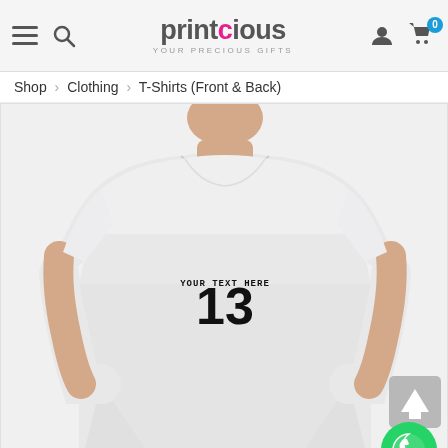printcious — YOUR PRECIOUS GIFTS (navigation bar with hamburger, search, user, cart icons)
Shop > Clothing > T-Shirts (Front & Back)
[Figure (photo): Product photo of a man wearing a plain white T-shirt. On the chest area, the shirt has 'YOUR TEXT HERE' in small caps and '13' in large bold jersey-style font.]